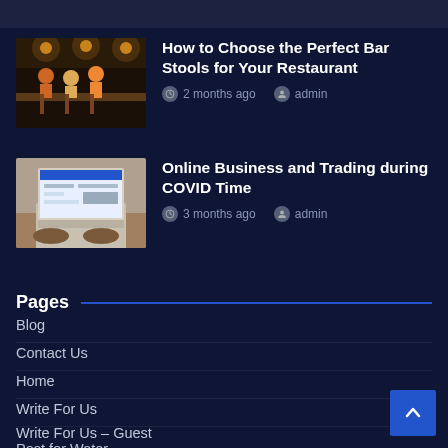[Figure (screenshot): Partial top bar with dark background]
[Figure (photo): Thumbnail of restaurant bar stools scene]
How to Choose the Perfect Bar Stools for Your Restaurant
2 months ago  admin
[Figure (photo): Thumbnail of laptop with e-commerce website]
Online Business and Trading during COVID Time
3 months ago  admin
Pages
Blog
Contact Us
Home
Write For Us
Write For Us – Guest Post for Water